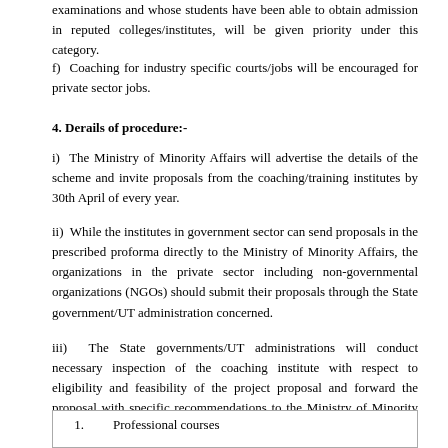examinations and whose students have been able to obtain admission in reputed colleges/institutes, will be given priority under this category.
f)  Coaching for industry specific courts/jobs will be encouraged for private sector jobs.
4. Derails of procedure:-
i)  The Ministry of Minority Affairs will advertise the details of the scheme and invite proposals from the coaching/training institutes by 30th April of every year.
ii)  While the institutes in government sector can send proposals in the prescribed proforma directly to the Ministry of Minority Affairs, the organizations in the private sector including non-governmental organizations (NGOs) should submit their proposals through the State government/UT administration concerned.
iii)  The State governments/UT administrations will conduct necessary inspection of the coaching institute with respect to eligibility and feasibility of the project proposal and forward the proposal with specific recommendations to the Ministry of Minority Affairs.
| 1. | Professional courses |